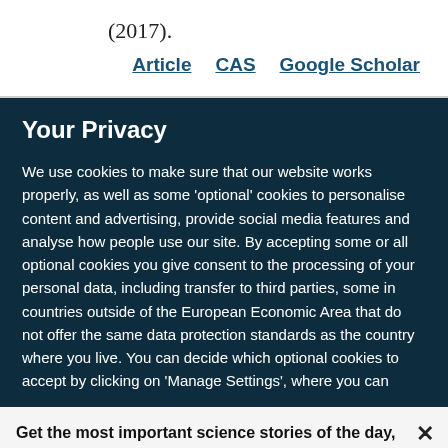(2017).
Article   CAS   Google Scholar
Your Privacy
We use cookies to make sure that our website works properly, as well as some 'optional' cookies to personalise content and advertising, provide social media features and analyse how people use our site. By accepting some or all optional cookies you give consent to the processing of your personal data, including transfer to third parties, some in countries outside of the European Economic Area that do not offer the same data protection standards as the country where you live. You can decide which optional cookies to accept by clicking on 'Manage Settings', where you can
Get the most important science stories of the day, free in your inbox.
Sign up for Nature Briefing